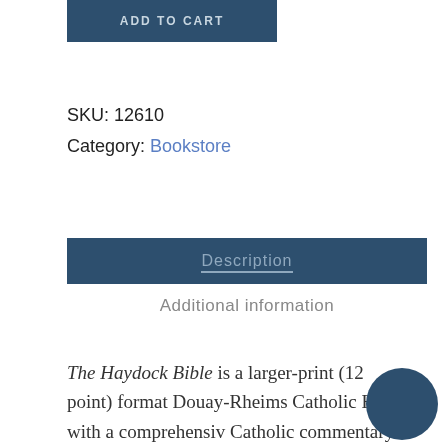[Figure (other): Add to Cart button — dark navy blue rectangle with white uppercase text 'ADD TO CART']
SKU: 12610
Category: Bookstore
Description
Additional information
The Haydock Bible is a larger-print (12 point) format Douay-Rheims Catholic Bible with a comprehensive Catholic commentary (210 sources used!) and an illustrated Catholic